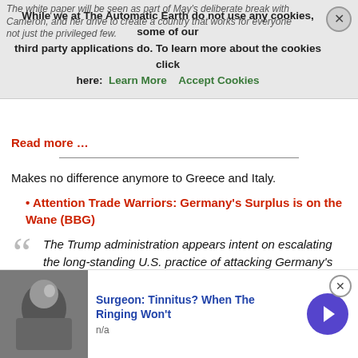The white paper will be seen as part of May's deliberate break with Cameron, and her drive to create a country that works for everyone, not just the privileged few.
While we at The Automatic Earth do not use any cookies, some of our third party applications do. To learn more about the cookies click here: Learn More   Accept Cookies
Read more …
Makes no difference anymore to Greece and Italy.
Attention Trade Warriors: Germany's Surplus is on the Wane (BBG)
The Trump administration appears intent on escalating the long-standing U.S. practice of attacking Germany's current-account surplus. Good news for those on the receiving end: It has probably peaked. As officials like National Trade Council director Peter Navarro rail against the trade imbalance that dominates the balance of payments between the two countries, pensioners, home-buyers and
Surgeon: Tinnitus? When The Ringing Won't
n/a